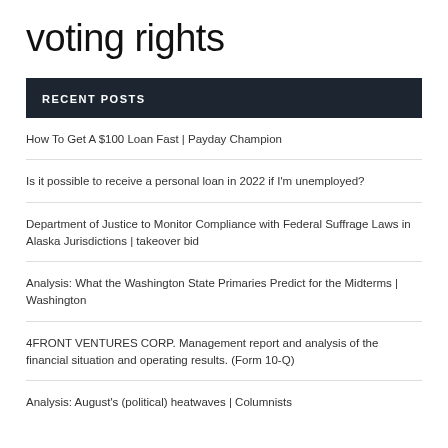voting rights
RECENT POSTS
How To Get A $100 Loan Fast | Payday Champion
Is it possible to receive a personal loan in 2022 if I'm unemployed?
Department of Justice to Monitor Compliance with Federal Suffrage Laws in Alaska Jurisdictions | takeover bid
Analysis: What the Washington State Primaries Predict for the Midterms | Washington
4FRONT VENTURES CORP. Management report and analysis of the financial situation and operating results. (Form 10-Q)
Analysis: August's (political) heatwaves | Columnists